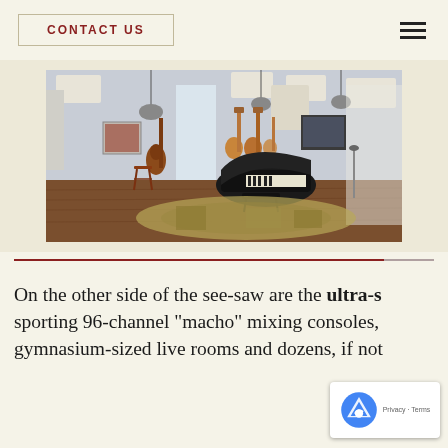CONTACT US
[Figure (photo): Interior of a music recording studio or music room with hardwood floors, acoustic panels on ceiling, guitars hanging on wall, a cello leaning against wall, a grand piano, a barstool, and a patterned area rug]
On the other side of the see-saw are the ultra-s sporting 96-channel “macho” mixing consoles, gymnasium-sized live rooms and dozens, if not